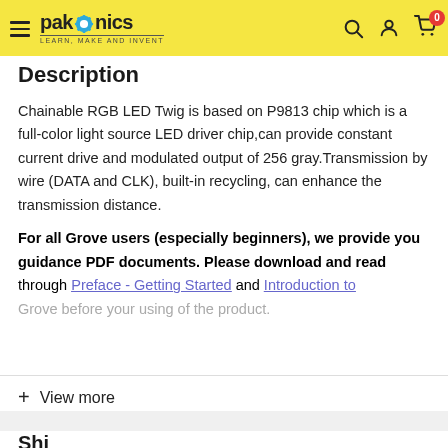pakronics — Learn, Make and Invent
Description
Chainable RGB LED Twig is based on P9813 chip which is a full-color light source LED driver chip,can provide constant current drive and modulated output of 256 gray.Transmission by wire (DATA and CLK), built-in recycling, can enhance the transmission distance. For all Grove users (especially beginners), we provide you guidance PDF documents. Please download and read through Preface - Getting Started and Introduction to Grove before your using of the product.
+ View more